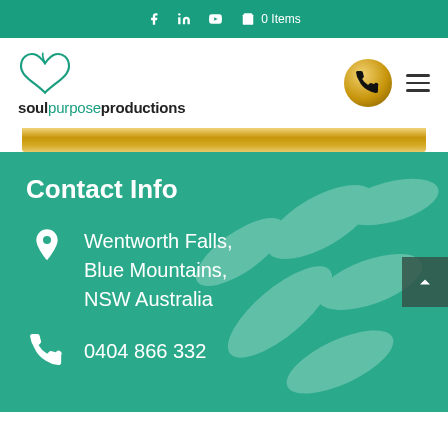f  in  ▶  🛒 0 Items
[Figure (logo): Soul Purpose Productions logo with green heart and text 'soulpurposeproductions']
Contact Info
Wentworth Falls, Blue Mountains, NSW Australia
0404 866 332